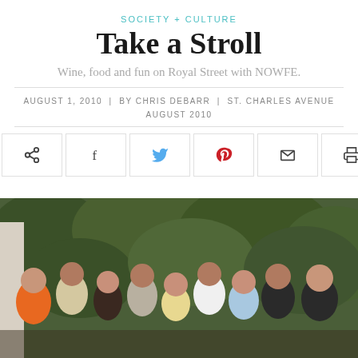SOCIETY + CULTURE
Take a Stroll
Wine, food and fun on Royal Street with NOWFE.
AUGUST 1, 2010  |  BY CHRIS DEBARR  |  ST. CHARLES AVENUE AUGUST 2010
[Figure (other): Social sharing buttons: share, Facebook, Twitter, Pinterest, email, print]
[Figure (photo): Group photo of approximately nine smiling adults posed outdoors in front of green foliage at a NOWFE event on Royal Street.]